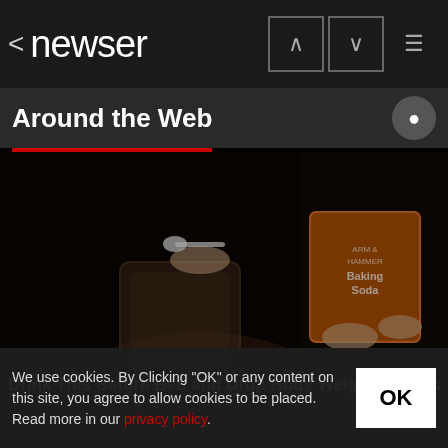< newser
Around the Web
[Figure (photo): Person spooning baking soda from an Arm & Hammer box into a glass jar, dark background]
Drink This Before Bed and Drop Body Weight Like Crazy
We use cookies. By Clicking "OK" or any content on this site, you agree to allow cookies to be placed. Read more in our privacy policy.